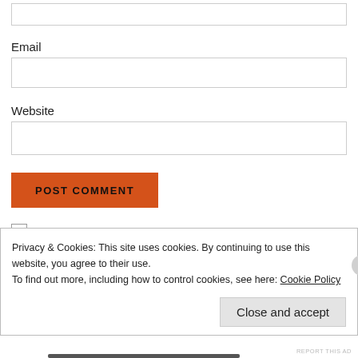[Figure (screenshot): Top portion of a comment form input box (empty text input, partially visible)]
Email
[Figure (screenshot): Empty email input field with light border]
Website
[Figure (screenshot): Empty website input field with light border]
[Figure (screenshot): POST COMMENT button in orange]
Notify me of new comments via email.
Privacy & Cookies: This site uses cookies. By continuing to use this website, you agree to their use.
To find out more, including how to control cookies, see here: Cookie Policy
Close and accept